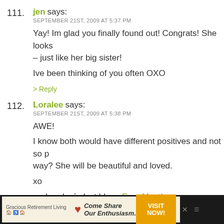111. jen says: SEPTEMBER 21ST, 2009 AT 5:37 PM
Yay! Im glad you finally found out! Congrats! She looks – just like her big sister!
Ive been thinking of you often OXO
> Reply
112. Loralee says: SEPTEMBER 21ST, 2009 AT 5:38 PM
AWE!
I know both would have different positives and not so p... way? She will be beautiful and loved.
xo
.-= Loralee's last blog ..Four Months =.-.
> Reply
113. Miss Grace says: